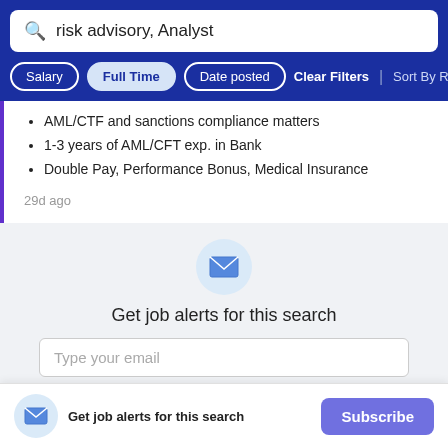risk advisory, Analyst
Salary | Full Time | Date posted | Clear Filters | Sort By Rele…
AML/CTF and sanctions compliance matters
1-3 years of AML/CFT exp. in Bank
Double Pay, Performance Bonus, Medical Insurance
29d ago
Get job alerts for this search
Type your email
Get job alerts for this search
Subscribe